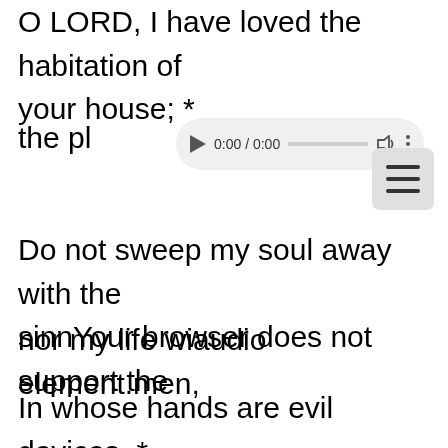O LORD, I have loved the habitation of your house; *
the pl[ace where your glory abides]
[Figure (other): Audio player UI overlay showing 0:00 / 0:00 with play button, progress bar, volume icon, and options dots. Below it a fallback message: Your browser does not support the audio element.]
Do not sweep my soul away with the sinners, nor my life with bloodthirsty men,
In whose hands are evil devices, * and whose right hand is full of bribes.
But as for me, I shall walk in my integrity; *